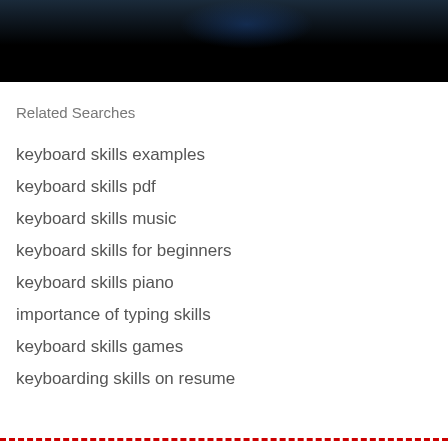[Figure (photo): Dark background image, appears to be a dark scene with a bluish light or glow in the upper portion, mostly black at the bottom.]
Related Searches
keyboard skills examples
keyboard skills pdf
keyboard skills music
keyboard skills for beginners
keyboard skills piano
importance of typing skills
keyboard skills games
keyboarding skills on resume
- - - - - - - - - - - - - - - - - - - - - - - - - - - - - - - - - - - - - - -